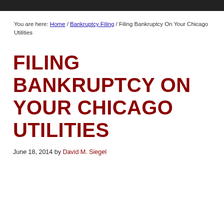You are here: Home / Bankruptcy Filing / Filing Bankruptcy On Your Chicago Utilities
FILING BANKRUPTCY ON YOUR CHICAGO UTILITIES
June 18, 2014 by David M. Siegel